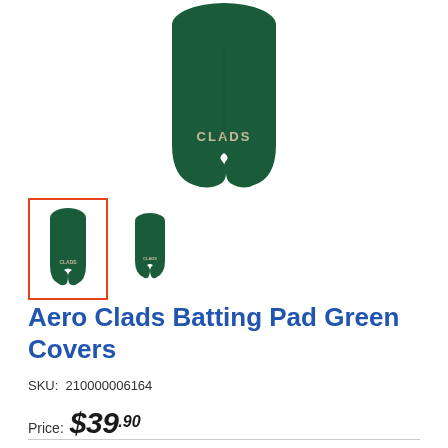[Figure (photo): Green cricket batting pad cover shown from front, dark forest green color with Clads logo near bottom, shaped to fit over batting pads]
[Figure (photo): Two thumbnail images of the Aero Clads Batting Pad Green Covers, first selected with orange border, second unselected]
Aero Clads Batting Pad Green Covers
SKU: 210000006164
Price: $39.90